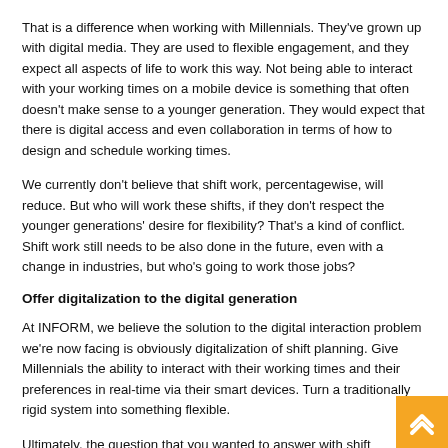That is a difference when working with Millennials. They've grown up with digital media. They are used to flexible engagement, and they expect all aspects of life to work this way. Not being able to interact with your working times on a mobile device is something that often doesn't make sense to a younger generation. They would expect that there is digital access and even collaboration in terms of how to design and schedule working times.
We currently don't believe that shift work, percentagewise, will reduce. But who will work these shifts, if they don't respect the younger generations' desire for flexibility? That's a kind of conflict. Shift work still needs to be also done in the future, even with a change in industries, but who's going to work those jobs?
Offer digitalization to the digital generation
At INFORM, we believe the solution to the digital interaction problem we're now facing is obviously digitalization of shift planning. Give Millennials the ability to interact with their working times and their preferences in real-time via their smart devices. Turn a traditionally rigid system into something flexible.
Ultimately, the question that you wanted to answer with shift schedules was to make a rigid shift schedule. The question was to guarantee a certain level of staffing at all times. While the old answer is the rigid shift schedule, it's only one answer. It's easy; it's an easy answer, but nowadays, in the digital world, there can be other answers. Why don't you flexibly schedule all of those shifts, all of